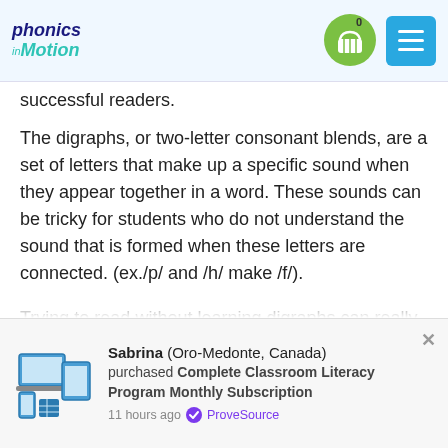Phonics in Motion — navigation header with logo and menu button
successful readers.
The digraphs, or two-letter consonant blends, are a set of letters that make up a specific sound when they appear together in a word. These sounds can be tricky for students who do not understand the sound that is formed when these letters are connected. (ex./p/ and /h/ make /f/).
Trying to read without learning digraphs can really slow down progress. All that time spent staring at the word, trying to figure out which letter comes next and when you don't know what the word is, you're not getting any reading practice. It's time wasted.
Sabrina (Oro-Medonte, Canada) purchased Complete Classroom Literacy Program Monthly Subscription 11 hours ago ✓ ProveSource